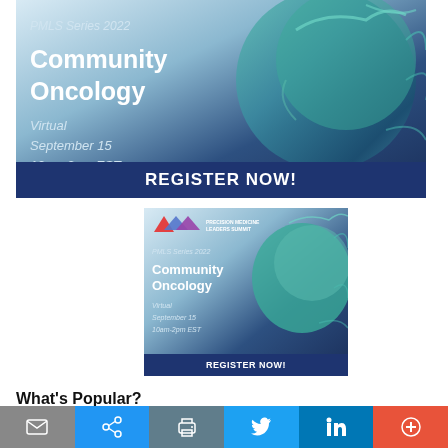[Figure (infographic): PMLS Series 2022 Community Oncology virtual event banner with blue gradient background and microscopic cell image. Text: PMLS Series 2022, Community Oncology, Virtual September 15 10am-2pm EST. Dark blue REGISTER NOW! button at bottom.]
[Figure (infographic): Smaller version of PMLS Series 2022 Community Oncology event banner with Precision Medicine Leaders Summit logo, same cell image and event details. Virtual September 15 10am-2pm EST. REGISTER NOW! button.]
What's Popular?
[Figure (infographic): Bottom toolbar with email, share, print, Twitter, LinkedIn, and more (+) icons on colored backgrounds (grey, blue, dark grey, light blue, dark blue, orange-red).]